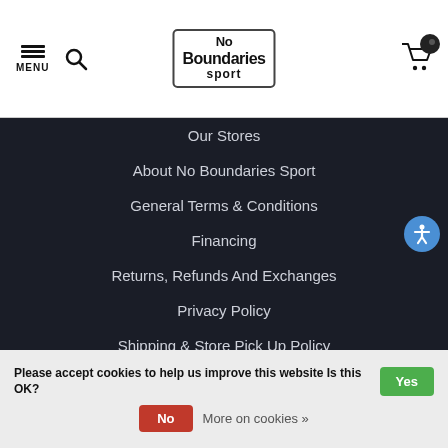MENU | No Boundaries Sport
Our Stores
About No Boundaries Sport
General Terms & Conditions
Financing
Returns, Refunds And Exchanges
Privacy Policy
Shipping & Store Pick Up Policy
Payment Methods
Bike Rent
Bike Repair
Please accept cookies to help us improve this website Is this OK? Yes | No | More on cookies »